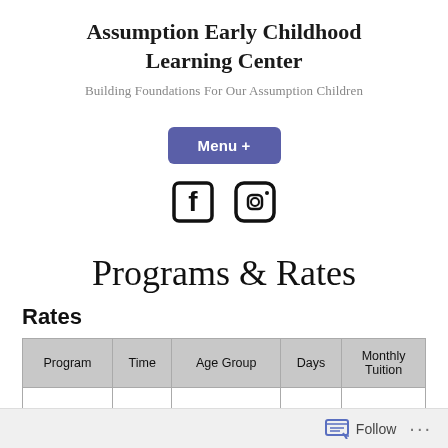Assumption Early Childhood Learning Center
Building Foundations For Our Assumption Children
Menu +
[Figure (illustration): Facebook and Instagram social media icons]
Programs & Rates
Rates
| Program | Time | Age Group | Days | Monthly Tuition |
| --- | --- | --- | --- | --- |
Follow ...